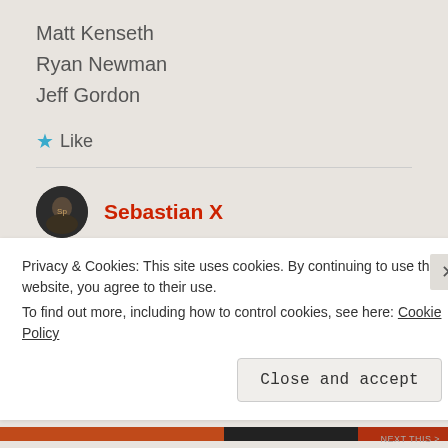Matt Kenseth
Ryan Newman
Jeff Gordon
★ Like
Sebastian X
15 November 2011 at 11:42 am
Carl Edwards
Privacy & Cookies: This site uses cookies. By continuing to use this website, you agree to their use.
To find out more, including how to control cookies, see here: Cookie Policy
Close and accept